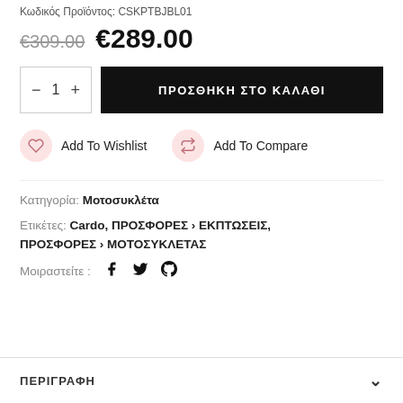Κωδικός Προϊόντος: CSKPTBJBL01
€309.00  €289.00
− 1 + | ΠΡΟΣΘΗΚΗ ΣΤΟ ΚΑΛΑΘΙ
Add To Wishlist    Add To Compare
Κατηγορία: Μοτοσυκλέτα
Ετικέτες: Cardo, ΠΡΟΣΦΟΡΕΣ › ΕΚΠΤΩΣΕΙΣ, ΠΡΟΣΦΟΡΕΣ › ΜΟΤΟΣΥΚΛΕΤΑΣ
Μοιραστείτε :  [facebook] [twitter] [pinterest]
ΠΕΡΙΓΡΑΦΗ